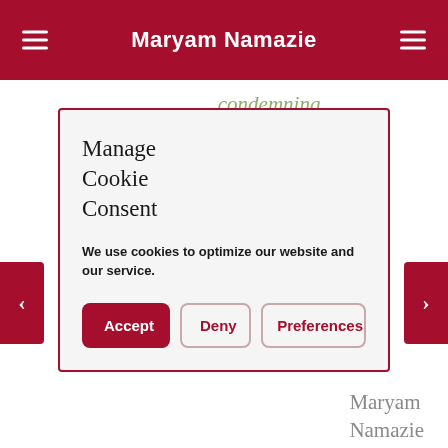Maryam Namazie
condemning
is an absurdly
Manage
Cookie
Consent
We use cookies to optimize our website and our service.
Accept | Deny | Preferences
Maryam
Namazie